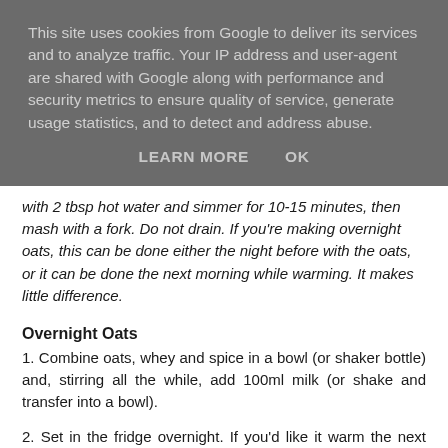This site uses cookies from Google to deliver its services and to analyze traffic. Your IP address and user-agent are shared with Google along with performance and security metrics to ensure quality of service, generate usage statistics, and to detect and address abuse.
LEARN MORE   OK
with 2 tbsp hot water and simmer for 10-15 minutes, then mash with a fork. Do not drain. If you're making overnight oats, this can be done either the night before with the oats, or it can be done the next morning while warming. It makes little difference.
Overnight Oats
1. Combine oats, whey and spice in a bowl (or shaker bottle) and, stirring all the while, add 100ml milk (or shake and transfer into a bowl).
2. Set in the fridge overnight. If you'd like it warm the next morning, add your warm mashed pear and whatever water is left into the cold porridge mix, then heat in the microwave for